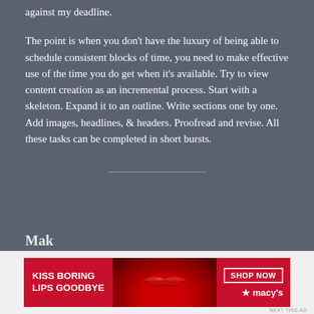against my deadline.
The point is when you don’t have the luxury of being able to schedule consistent blocks of time, you need to make effective use of the time you do get when it’s available. Try to view content creation as an incremental process. Start with a skeleton. Expand it to an outline. Write sections one by one. Add images, headlines, & headers. Proofread and revise. All these tasks can be completed in short bursts.
[Figure (other): Horizontal divider line]
[Figure (other): Advertisement banner for Macy's with text KISS BORING LIPS GOODBYE and SHOP NOW button with Macy's star logo]
[Figure (other): Close button (X) for advertisement]